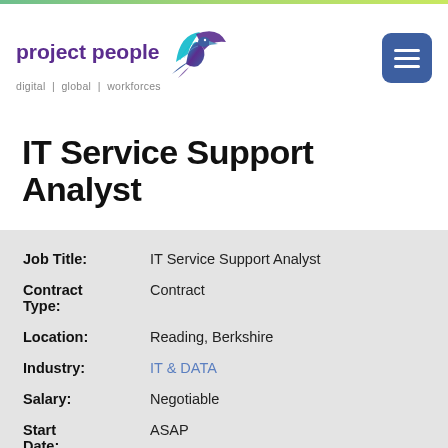[Figure (logo): Project People logo with purple bird/eagle illustration and text 'project people digital | global | workforces']
IT Service Support Analyst
| Job Title: | IT Service Support Analyst |
| Contract Type: | Contract |
| Location: | Reading, Berkshire |
| Industry: | IT & DATA |
| Salary: | Negotiable |
| Start Date: | ASAP |